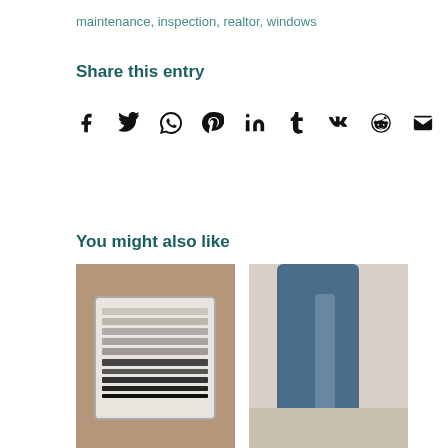maintenance, inspection, realtor, windows
Share this entry
[Figure (infographic): Social sharing icons: Facebook, Twitter, WhatsApp, Pinterest, LinkedIn, Tumblr, VK, Reddit, Email]
You might also like
[Figure (photo): A white rectangular floor vent/register on brown carpet]
[Figure (photo): A blue water heater base with water damage/staining on floor]